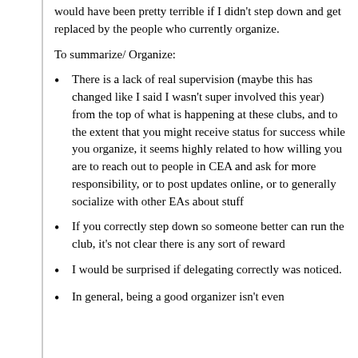would have been pretty terrible if I didn't step down and get replaced by the people who currently organize.
To summarize/ Organize:
There is a lack of real supervision (maybe this has changed like I said I wasn't super involved this year) from the top of what is happening at these clubs, and to the extent that you might receive status for success while you organize, it seems highly related to how willing you are to reach out to people in CEA and ask for more responsibility, or to post updates online, or to generally socialize with other EAs about stuff
If you correctly step down so someone better can run the club, it's not clear there is any sort of reward
I would be surprised if delegating correctly was noticed.
In general, being a good organizer isn't even